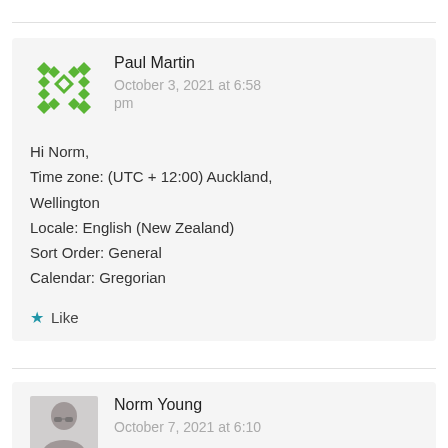Paul Martin
October 3, 2021 at 6:58 pm

Hi Norm,
Time zone: (UTC + 12:00) Auckland, Wellington
Locale: English (New Zealand)
Sort Order: General
Calendar: Gregorian

★ Like
Norm Young
October 7, 2021 at 6:10